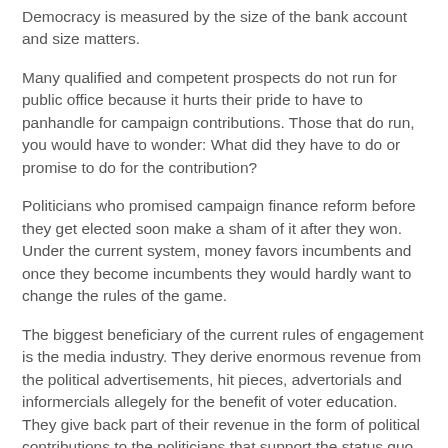Democracy is measured by the size of the bank account and size matters.
Many qualified and competent prospects do not run for public office because it hurts their pride to have to panhandle for campaign contributions. Those that do run, you would have to wonder: What did they have to do or promise to do for the contribution?
Politicians who promised campaign finance reform before they get elected soon make a sham of it after they won. Under the current system, money favors incumbents and once they become incumbents they would hardly want to change the rules of the game.
The biggest beneficiary of the current rules of engagement is the media industry. They derive enormous revenue from the political advertisements, hit pieces, advertorials and informercials allegely for the benefit of voter education. They give back part of their revenue in the form of political contributions to the politicians that support the status quo.